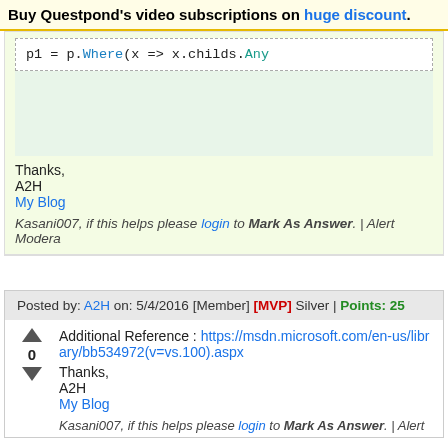Buy Questpond's video subscriptions on huge discount.
[Figure (screenshot): Code snippet showing: p1 = p.Where(x => x.childs.Any]
Thanks,
A2H
My Blog
Kasani007, if this helps please login to Mark As Answer. | Alert Modera
Posted by: A2H on: 5/4/2016 [Member] [MVP] Silver | Points: 25
Additional Reference : https://msdn.microsoft.com/en-us/library/bb534972(v=vs.100).aspx
Thanks,
A2H
My Blog
Kasani007, if this helps please login to Mark As Answer. | Alert